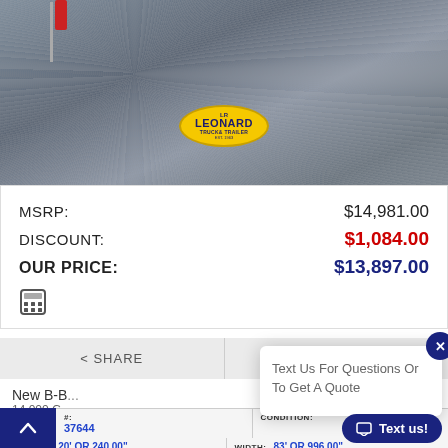[Figure (photo): Overhead/close-up photo of a trailer hitch/coupler on a gravel surface with a Leonard Truck & Trailer logo oval badge visible]
MSRP: $14,981.00
DISCOUNT: $1,084.00
OUR PRICE: $13,897.00
< SHARE
MORE IMAGES
New B-B ...
14,000 G...
with 235/80r-16 tires. We added upgrades for your
Text Us For Questions Or To Get A Quote
| #: | CONDITION: |
| --- | --- |
| 37644 |  |
| 20' OR 240.00" | 83' OR 996.00" |
LENGTH: 20' OR 240.00"
WIDTH: 83' OR 996.00"
Text us!